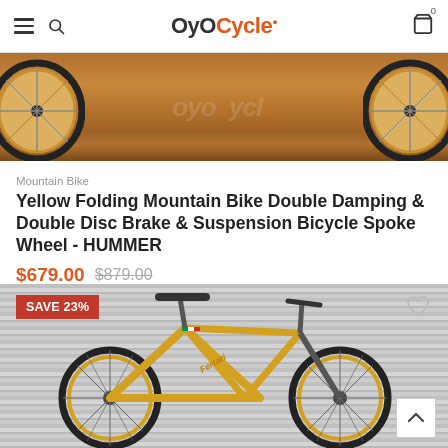OyoCycle
[Figure (photo): Close-up of bicycle wheels with wood floor background and OyoCycle watermark]
Mountain Bike
Yellow Folding Mountain Bike Double Damping & Double Disc Brake & Suspension Bicycle Spoke Wheel - HUMMER
$679.00  $879.00
[Figure (photo): Yellow Ferrari mountain bike leaning against corrugated metal wall, with SAVE 23% badge]